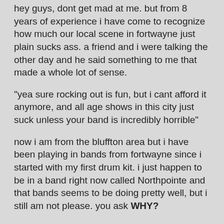hey guys, dont get mad at me. but from 8 years of experience i have come to recognize how much our local scene in fortwayne just plain sucks ass. a friend and i were talking the other day and he said something to me that made a whole lot of sense.
"yea sure rocking out is fun, but i cant afford it anymore, and all age shows in this city just suck unless your band is incredibly horrible"
now i am from the bluffton area but i have been playing in bands from fortwayne since i started with my first drum kit. i just happen to be in a band right now called Northpointe and that bands seems to be doing pretty well, but i still am not please. you ask WHY?
about a year ago, i decided to start throwing concerts in my own town, "Bluffton". the first few shows were failiors. no one came and it was just crappy bands.